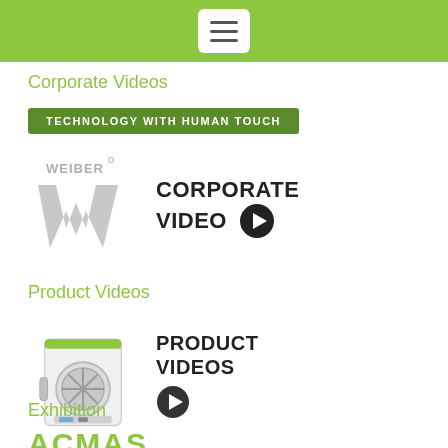[Figure (screenshot): Green navigation header bar with hamburger menu button (three horizontal lines) on white rounded rectangle background]
Corporate Videos
[Figure (illustration): Green banner with white bold text: TECHNOLOGY WITH HUMAN TOUCH]
[Figure (logo): Weiber logo — grey W letter with WEIBER text above, and CORPORATE VIDEO text with play button circle]
Product Videos
[Figure (photo): Autoclave/sterilizer machine image alongside PRODUCT VIDEOS text and play button]
Exhibition
[Figure (logo): ACMAS logo text in green at bottom of page]